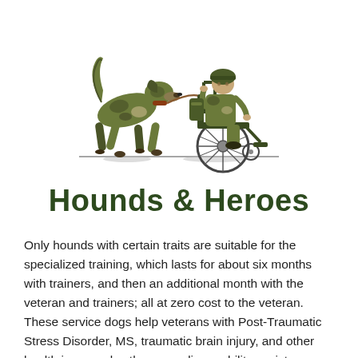[Figure (logo): Illustration of a military camouflage-patterned dog walking beside a soldier in a wheelchair, both in camouflage colors. The dog walks on the left, the wheelchair-bound veteran on the right.]
Hounds & Heroes
Only hounds with certain traits are suitable for the specialized training, which lasts for about six months with trainers, and then an additional month with the veteran and trainers; all at zero cost to the veteran.  These service dogs help veterans with Post-Traumatic Stress Disorder, MS, traumatic brain injury, and other health issues, plus those needing mobility assistance.  In